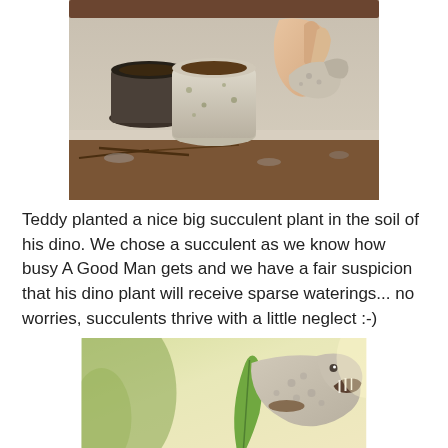[Figure (photo): Child's hands planting or placing a small dinosaur toy into soil, with ceramic pots and dirt visible on a table outdoors]
Teddy planted a nice big succulent plant in the soil of his dino. We chose a succulent as we know how busy A Good Man gets and we have a fair suspicion that his dino plant will receive sparse waterings... no worries, succulents thrive with a little neglect :-)
[Figure (photo): Close-up of a grey/beige textured dinosaur toy figure with a plant leaf visible, on a soft blurred yellow-green background]